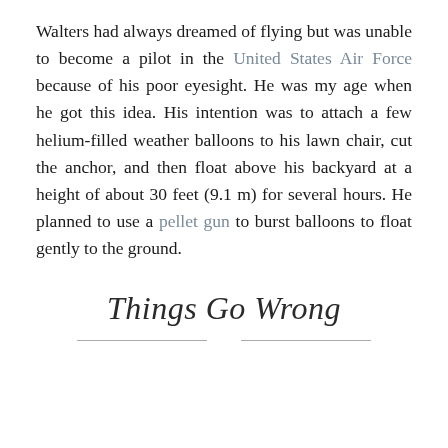Walters had always dreamed of flying but was unable to become a pilot in the United States Air Force because of his poor eyesight. He was my age when he got this idea. His intention was to attach a few helium-filled weather balloons to his lawn chair, cut the anchor, and then float above his backyard at a height of about 30 feet (9.1 m) for several hours. He planned to use a pellet gun to burst balloons to float gently to the ground.
Things Go Wrong